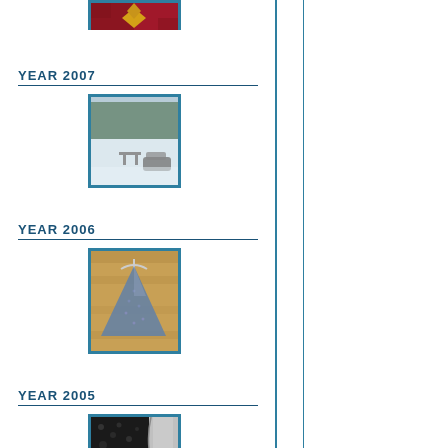[Figure (photo): Partial photo at top of page showing a quilt with star pattern, cut off from previous section]
YEAR 2007
[Figure (photo): Winter outdoor scene showing snow-covered ground with a picnic table and what appears to be a car or sled, surrounded by snowy trees]
YEAR 2006
[Figure (photo): Blue and white poncho or shawl garment hanging on a hanger, displayed against a wooden background]
YEAR 2005
[Figure (photo): Partial photo at bottom showing a dark textile or lace work, partially cut off]